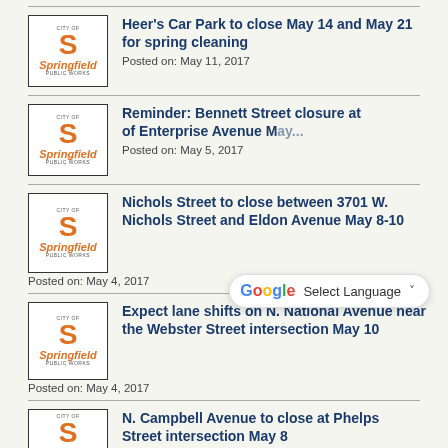Heer's Car Park to close May 14 and May 21 for spring cleaning
Posted on: May 11, 2017
Reminder: Bennett Street closure at Enterprise Avenue May [date]
Posted on: May 5, 2017
[Figure (screenshot): Google Translate Select Language dropdown widget overlay]
Nichols Street to close between 3701 W. Nichols Street and Eldon Avenue May 8-10
Posted on: May 4, 2017
Expect lane shifts on N. National Avenue near the Webster Street intersection May 10
Posted on: May 4, 2017
N. Campbell Avenue to close at Phelps Street intersection May 8